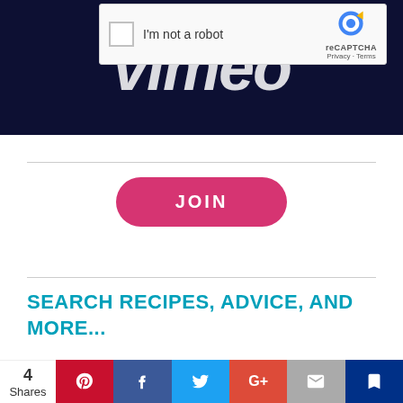[Figure (screenshot): Screenshot of a website page section showing a reCAPTCHA widget overlaid on a dark navy Vimeo logo background, a pink JOIN button, a teal search heading 'SEARCH RECIPES, ADVICE, AND MORE...', a search bar, and a social sharing bar at the bottom with Pinterest, Facebook, Twitter, Google+, Email, and Bookmark buttons. '4 Shares' label is shown on the left.]